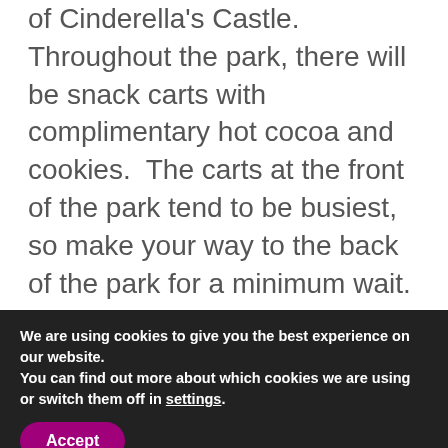of Cinderella's Castle. Throughout the park, there will be snack carts with complimentary hot cocoa and cookies. The carts at the front of the park tend to be busiest, so make your way to the back of the park for a minimum wait.
Next, you can meet characters that are only available for meet and greets during Mickey's Very Merry Christmas Party (some are also available during Mickey's Not So Scary
We are using cookies to give you the best experience on our website.
You can find out more about which cookies we are using or switch them off in settings.